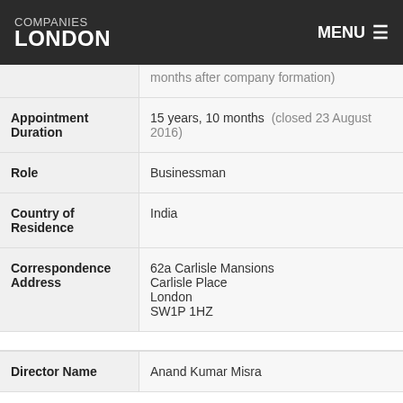COMPANIES LONDON | MENU
| Field | Value |
| --- | --- |
| (partial - months after company formation) |  |
| Appointment Duration | 15 years, 10 months (closed 23 August 2016) |
| Role | Businessman |
| Country of Residence | India |
| Correspondence Address | 62a Carlisle Mansions
Carlisle Place
London
SW1P 1HZ |
| Director Name | Anand Kumar Misra |